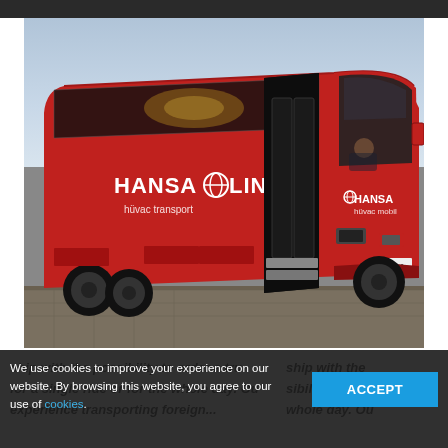[Figure (photo): A large red Hansa Linid coach bus photographed at an angle showing the side and front, with open doors, parked on a paved area. The bus is red with black and white HANSA LINID branding. Sky is visible in the background.]
We use cookies to improve your experience on our website. By browsing this website, you agree to our use of cookies.
ship with the possibility to order a ride or for the whole day. Our experience transporting foreign...